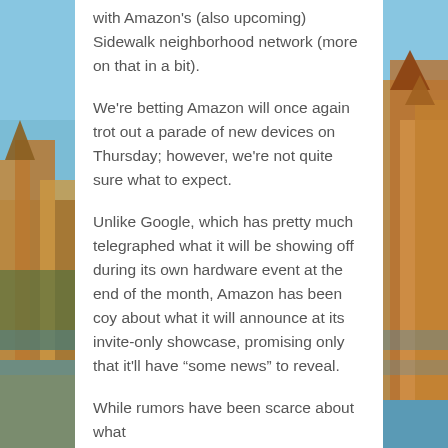[Figure (illustration): Background photograph of a European city (likely Stockholm) with blue sky, water, and historic buildings on the left and right sides, partially obscured by a white card overlay in the center.]
with Amazon's (also upcoming) Sidewalk neighborhood network (more on that in a bit).
We're betting Amazon will once again trot out a parade of new devices on Thursday; however, we're not quite sure what to expect.
Unlike Google, which has pretty much telegraphed what it will be showing off during its own hardware event at the end of the month, Amazon has been coy about what it will announce at its invite-only showcase, promising only that it'll have “some news” to reveal.
While rumors have been scarce about what